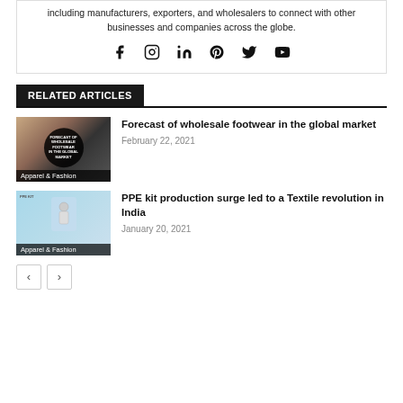including manufacturers, exporters, and wholesalers to connect with other businesses and companies across the globe.
[Figure (infographic): Social media icons: Facebook, Instagram, LinkedIn, Pinterest, Twitter, YouTube]
RELATED ARTICLES
[Figure (photo): Thumbnail image for forecast of wholesale footwear article, with dark circular overlay and text 'FORECAST OF WHOLESALE FOOTWEAR IN THE GLOBAL MARKET'. Category label: Apparel & Fashion]
Forecast of wholesale footwear in the global market
February 22, 2021
[Figure (photo): Thumbnail image for PPE kit article showing PPE kit diagram on light blue background. Category label: Apparel & Fashion]
PPE kit production surge led to a Textile revolution in India
January 20, 2021